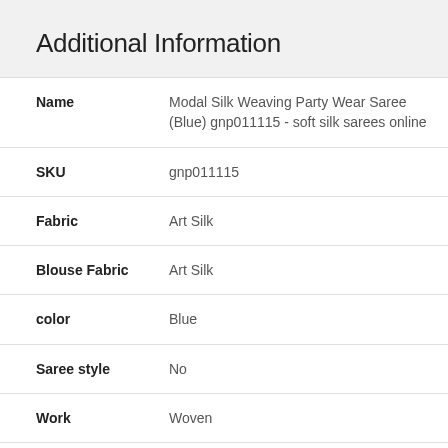Additional Information
| Attribute | Value |
| --- | --- |
| Name | Modal Silk Weaving Party Wear Saree (Blue) gnp011115 - soft silk sarees online |
| SKU | gnp011115 |
| Fabric | Art Silk |
| Blouse Fabric | Art Silk |
| color | Blue |
| Saree style | No |
| Work | Woven |
| Length of saree | 5.5 |